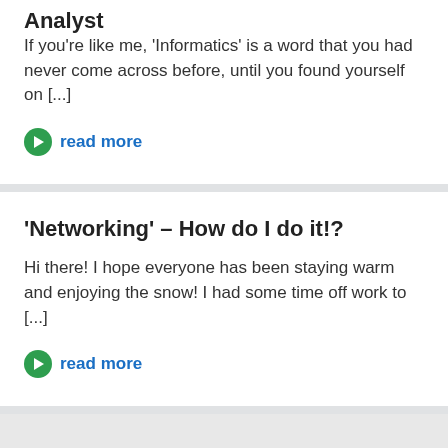Analyst
If you're like me, 'Informatics' is a word that you had never come across before, until you found yourself on [...]
read more
'Networking' – How do I do it!?
Hi there! I hope everyone has been staying warm and enjoying the snow! I had some time off work to [...]
read more